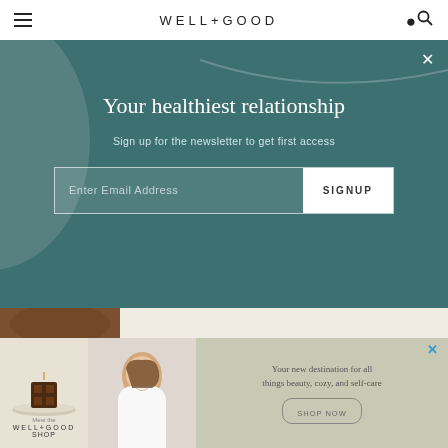WELL+GOOD
Your healthiest relationship
Sign up for the newsletter to get first access
Enter Email Address  SIGNUP
[Figure (photo): Smiling woman with brown hair, eyes closed, outdoors]
The Best Hydrating Serums That Won't Make You Break Out in Warmer...
[Figure (advertisement): Well+Good Shop advertisement banner showing beauty and self-care products]